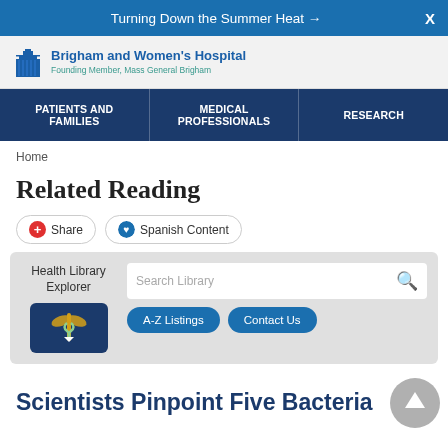Turning Down the Summer Heat →  X
[Figure (logo): Brigham and Women's Hospital logo with building icon, name in blue, and subtitle 'Founding Member, Mass General Brigham']
PATIENTS AND FAMILIES | MEDICAL PROFESSIONALS | RESEARCH
Home
Related Reading
Share  Spanish Content
Health Library Explorer  Search Library  A-Z Listings  Contact Us
Scientists Pinpoint Five Bacteria